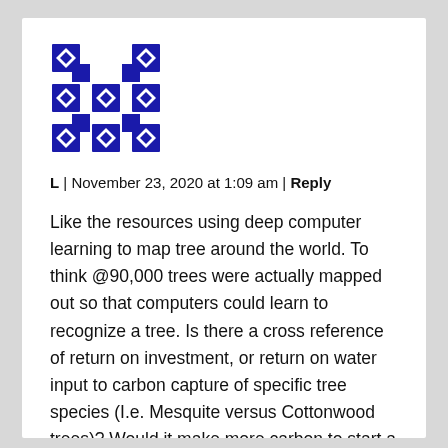[Figure (logo): Blue and white geometric/diamond pattern avatar icon resembling a Gravatar identicon]
L | November 23, 2020 at 1:09 am | Reply
Like the resources using deep computer learning to map tree around the world. To think @90,000 trees were actually mapped out so that computers could learn to recognize a tree. Is there a cross reference of return on investment, or return on water input to carbon capture of specific tree species (I.e. Mesquite versus Cottonwood trees)? Would it make more carbon to start a forest in a desert, a temperate, or tropical climate? Does